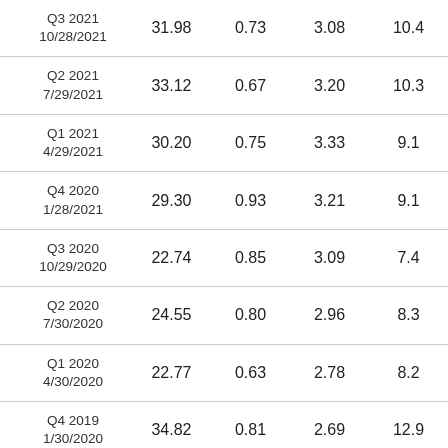| Q3 2021
10/28/2021 | 31.98 | 0.73 | 3.08 | 10.4 |
| Q2 2021
7/29/2021 | 33.12 | 0.67 | 3.20 | 10.3 |
| Q1 2021
4/29/2021 | 30.20 | 0.75 | 3.33 | 9.1 |
| Q4 2020
1/28/2021 | 29.30 | 0.93 | 3.21 | 9.1 |
| Q3 2020
10/29/2020 | 22.74 | 0.85 | 3.09 | 7.4 |
| Q2 2020
7/30/2020 | 24.55 | 0.80 | 2.96 | 8.3 |
| Q1 2020
4/30/2020 | 22.77 | 0.63 | 2.78 | 8.2 |
| Q4 2019
1/30/2020 | 34.82 | 0.81 | 2.69 | 12.9 |
| Q3 2019 | 31.01 | 0.73 | 2.48 | 10.0 |